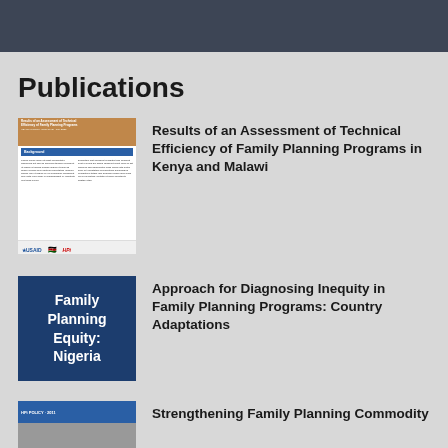Publications
[Figure (illustration): Thumbnail cover of a report titled 'Results of an Assessment of Technical Efficiency of Family Planning Programs' with blue header bar, body text columns, and logos at bottom (USAID, Kenya flag, HP)]
Results of an Assessment of Technical Efficiency of Family Planning Programs in Kenya and Malawi
[Figure (illustration): Dark navy blue square thumbnail with white bold text reading 'Family Planning Equity: Nigeria']
Approach for Diagnosing Inequity in Family Planning Programs: Country Adaptations
[Figure (illustration): Thumbnail of a publication with blue header bar and photo background]
Strengthening Family Planning Commodity